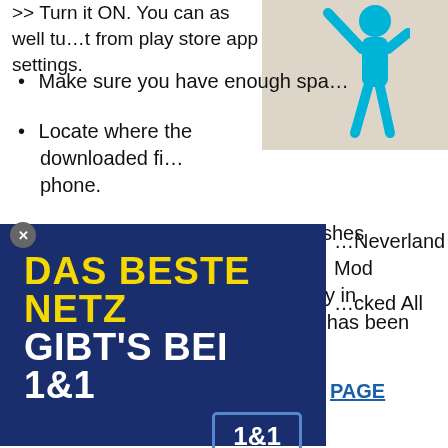>> Turn it ON. You can as well turn it from play store app settings.
Make sure you have enough spa…
Locate where the downloaded fil… phone.
Click on it to install, wait till it finishes installing.
Now your Drive Peter and Wendy in Neverland Mod APK for android has been successfully Installed.
[Figure (illustration): Cyan stick figure person with arm raised, on beige/tan background]
[Figure (infographic): Advertisement banner: dark navy blue background with 'DAS BESTE NETZ' in yellow bold text and 'GIBT'S BEI 1&1' in white bold text, with 1&1 logo box in bottom right]
…Neverland Mod …cked All
PAGE